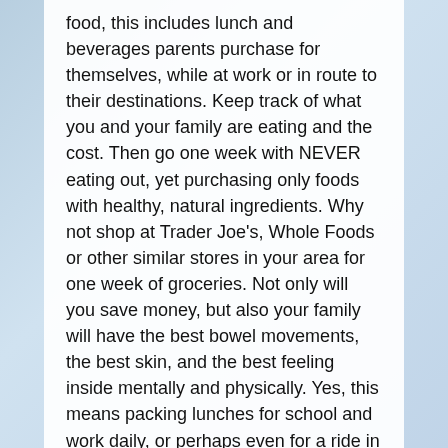food, this includes lunch and beverages parents purchase for themselves, while at work or in route to their destinations. Keep track of what you and your family are eating and the cost. Then go one week with NEVER eating out, yet purchasing only foods with healthy, natural ingredients. Why not shop at Trader Joe's, Whole Foods or other similar stores in your area for one week of groceries. Not only will you save money, but also your family will have the best bowel movements, the best skin, and the best feeling inside mentally and physically. Yes, this means packing lunches for school and work daily, or perhaps even for a ride in the car on vacations or just day trips. Once you see the changes in your family after one week, you will not want to stop. One month will show you even more of the huge changes in your families' daily existences.
Be cognizant, read labels, pay attention to what you buy, where you buy it, what the ingredients